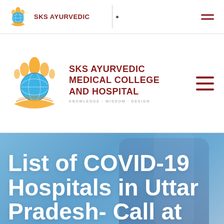SKS AYURVEDIC
[Figure (logo): SKS Ayurvedic Medical College and Hospital logo — globe with flames and book, orange and teal colors — small version in top navigation bar]
[Figure (logo): SKS Ayurvedic Medical College and Hospital logo — globe with flames and book, orange and teal colors — large version in main navigation]
List of COVID-19 Hospitals in Uttar Pradesh- Call at